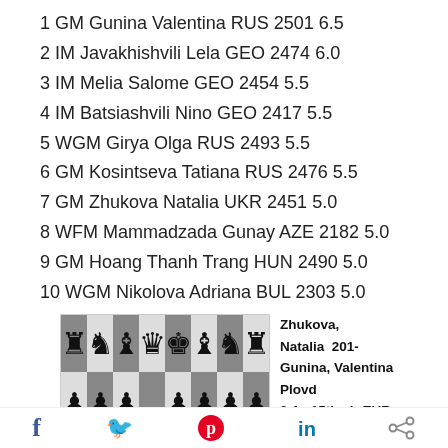1 GM Gunina Valentina RUS 2501 6.5
2 IM Javakhishvili Lela GEO 2474 6.0
3 IM Melia Salome GEO 2454 5.5
4 IM Batsiashvili Nino GEO 2417 5.5
5 WGM Girya Olga RUS 2493 5.5
6 GM Kosintseva Tatiana RUS 2476 5.5
7 GM Zhukova Natalia UKR 2451 5.0
8 WFM Mammadzada Gunay AZE 2182 5.0
9 GM Hoang Thanh Trang HUN 2490 5.0
10 WGM Nikolova Adriana BUL 2303 5.0
[Figure (other): Chess board diagram showing starting position of pieces for a game between Zhukova, Natalia and Gunina, Valentina]
Zhukova, Natalia 201- Gunina, Valentina Plovd 0-1 15th ch-EUR w 201
f  (Twitter bird)  p  in  (share icon)